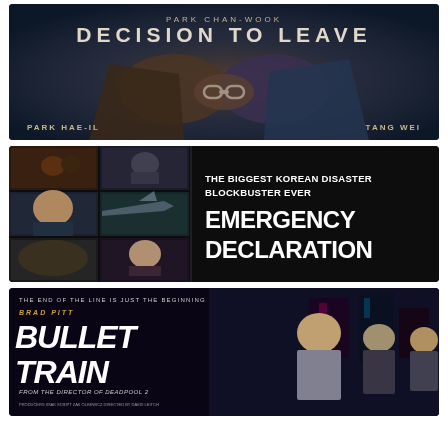[Figure (photo): Movie poster for 'Decision to Leave' directed by Park Chan-Wook, starring Park Hae-Il and Tang Wei. Dark cinematic poster showing handcuffed hands. Text reads: PARK CHAN-WOOK / DECISION TO LEAVE / PARK HAE-IL / TANG WEI]
[Figure (photo): Movie poster for 'Emergency Declaration' - The Biggest Korean Disaster Blockbuster Ever. Left side shows collage of movie stills with cast members and action scenes. Right side has white text on dark background.]
[Figure (photo): Movie poster for 'Bullet Train' starring Brad Pitt. Tagline: THE END OF THE LINE IS JUST THE BEGINNING. FROM THE DIRECTOR OF DEADPOOL 2. Dark cityscape background with neon lights and cast members.]